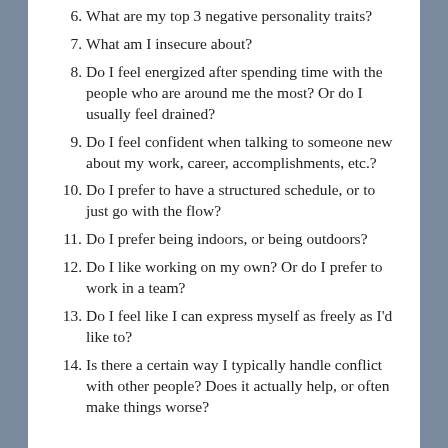6. What are my top 3 negative personality traits?
7. What am I insecure about?
8. Do I feel energized after spending time with the people who are around me the most? Or do I usually feel drained?
9. Do I feel confident when talking to someone new about my work, career, accomplishments, etc.?
10. Do I prefer to have a structured schedule, or to just go with the flow?
11. Do I prefer being indoors, or being outdoors?
12. Do I like working on my own? Or do I prefer to work in a team?
13. Do I feel like I can express myself as freely as I'd like to?
14. Is there a certain way I typically handle conflict with other people? Does it actually help, or often make things worse?